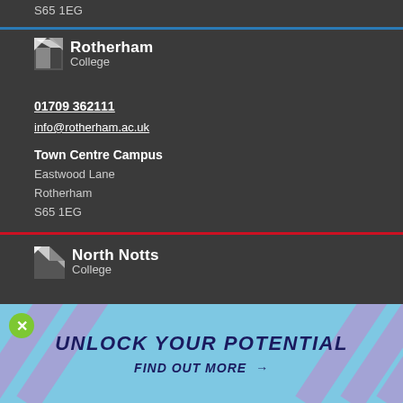S65 1EG
[Figure (logo): Rotherham College logo with white angular icon and bold text]
01709 362111
info@rotherham.ac.uk
Town Centre Campus
Eastwood Lane
Rotherham
S65 1EG
[Figure (logo): North Notts College logo with white angular icon and bold text]
01909 504500
contact@nnc.ac.uk
Worksop Campus
[Figure (infographic): Ad banner: UNLOCK YOUR POTENTIAL / FIND OUT MORE with light blue background and pink diagonal stripes, green close button]